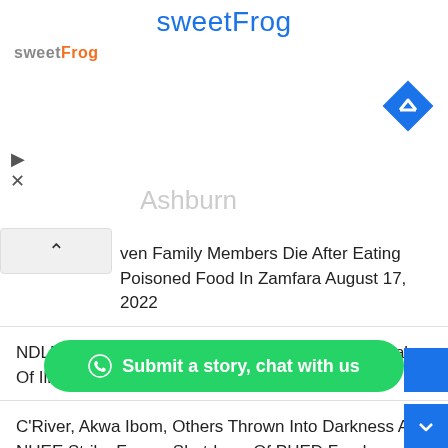[Figure (screenshot): sweetFrog advertisement banner with logo, navigation diamond icon, play/X icons, and Ashburn location text]
ven Family Members Die After Eating Poisoned Food In Zamfara  August 17, 2022
NDLEA Arrests Abuja Businessman Over Online Sales Of Illicit Drugs  August 17, 2022
C'River, Akwa Ibom, Others Thrown Into Darkness As NUEE Strike Forces Shutdown Of PHED Feeders  August 17, 2022
UN Secretary General Appoints Nigerian Gbenga Sesan On Internet Governance Forum  August 17, 2022
Saudi Woman, Salma al-Shehab Handed 34-year…
Submit a story, chat with us